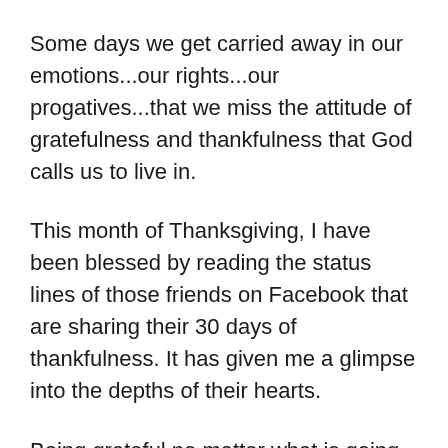Some days we get carried away in our emotions...our rights...our progatives...that we miss the attitude of gratefulness and thankfulness that God calls us to live in.
This month of Thanksgiving, I have been blessed by reading the status lines of those friends on Facebook that are sharing their 30 days of thankfulness. It has given me a glimpse into the depths of their hearts.
Being grateful no matter what is going on all around us. Being open to share that with